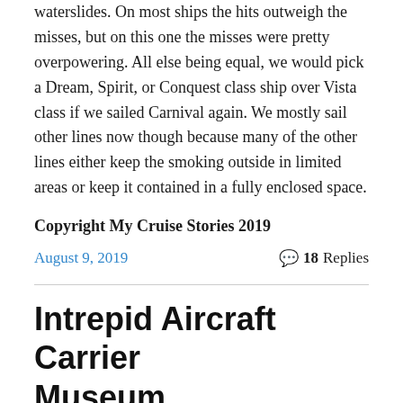waterslides. On most ships the hits outweigh the misses, but on this one the misses were pretty overpowering. All else being equal, we would pick a Dream, Spirit, or Conquest class ship over Vista class if we sailed Carnival again. We mostly sail other lines now though because many of the other lines either keep the smoking outside in limited areas or keep it contained in a fully enclosed space.
Copyright My Cruise Stories 2019
August 9, 2019
18 Replies
Intrepid Aircraft Carrier Museum
[Figure (photo): Blue water/ocean image strip at the bottom of the page]